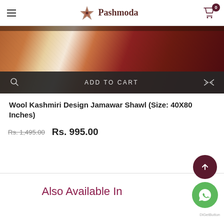Pashmoda
[Figure (photo): Product image of a Wool Kashmiri Design Jamawar Shawl with ADD TO CART button overlay]
Wool Kashmiri Design Jamawar Shawl (Size: 40X80 Inches)
Rs. 1,495.00  Rs. 995.00
Also Available In